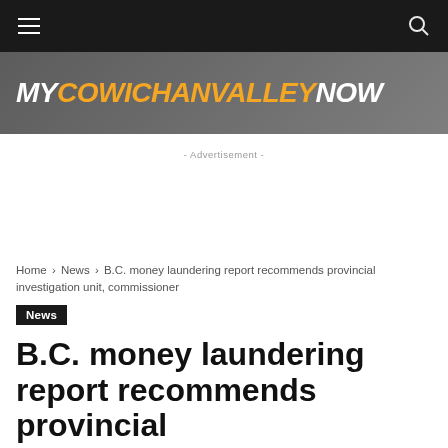MYCOWICHANVALLEYNOW
- Advertisement -
Home › News › B.C. money laundering report recommends provincial investigation unit, commissioner
News
B.C. money laundering report recommends provincial